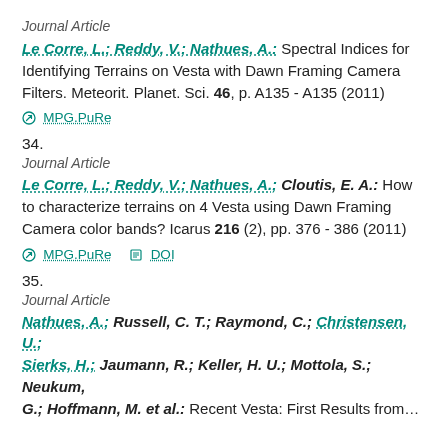Journal Article
Le Corre, L.; Reddy, V.; Nathues, A.: Spectral Indices for Identifying Terrains on Vesta with Dawn Framing Camera Filters. Meteorit. Planet. Sci. 46, p. A135 - A135 (2011)
MPG.PuRe
34.
Journal Article
Le Corre, L.; Reddy, V.; Nathues, A.; Cloutis, E. A.: How to characterize terrains on 4 Vesta using Dawn Framing Camera color bands? Icarus 216 (2), pp. 376 - 386 (2011)
MPG.PuRe   DOI
35.
Journal Article
Nathues, A.; Russell, C. T.; Raymond, C.; Christensen, U.; Sierks, H.; Jaumann, R.; Keller, H. U.; Mottola, S.; Neukum, G.; Hoffmann, M. et al.: Recent Vesta: First Results from...